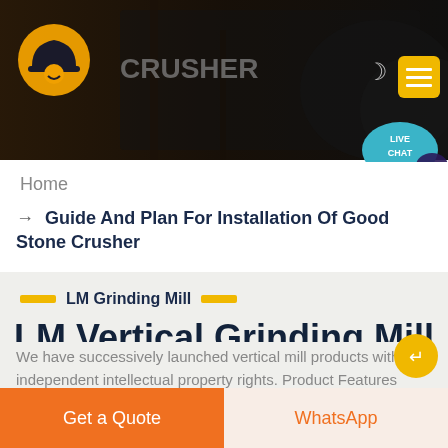[Figure (screenshot): Dark header bar with mining/crusher machinery background image, orange logo icon on left, and navigation icons (moon, menu) on right]
[Figure (infographic): Live Chat speech bubble icon in teal/blue color, top right corner]
Home
→ Guide And Plan For Installation Of Good Stone Crusher
LM Grinding Mill
LM Vertical Grinding Mill
We have successively launched vertical mill products with independent intellectual property rights. Product Features
Get a Quote
WhatsApp